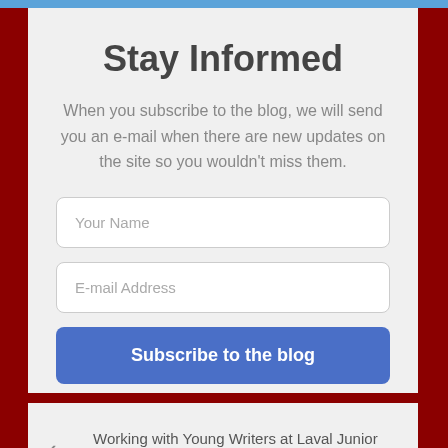Stay Informed
When you subscribe to the blog, we will send you an e-mail when there are new updates on the site so you wouldn't miss them.
Your Name
E-mail Address
Subscribe to the blog
< Working with Young Writers at Laval Junior Academy
Fourth Virtual Visit to Forest Hill Senior >